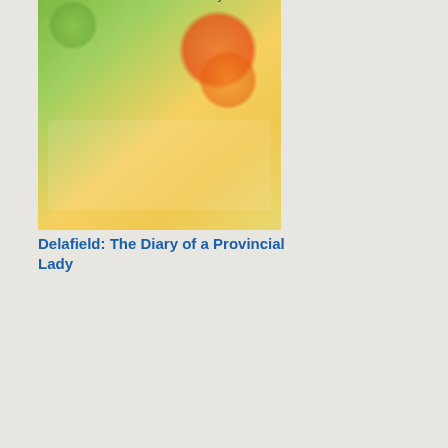[Figure (illustration): Book cover for 'The Diary of a Provincial Lady' showing a woman reclining on a colorful lounger]
Delafield: The Diary of a Provincial Lady
[Figure (illustration): Book cover for Mick Herron: Bad Actors, dark cover with Big Ben silhouette]
Mick Herron: Bad Actors
ActorsTimes
[Figure (illustration): Book cover for third book, partially visible]
D E
at the Au: cha in a tota diff wa: We see har any of Bin Wic is ma out to be eve wo: